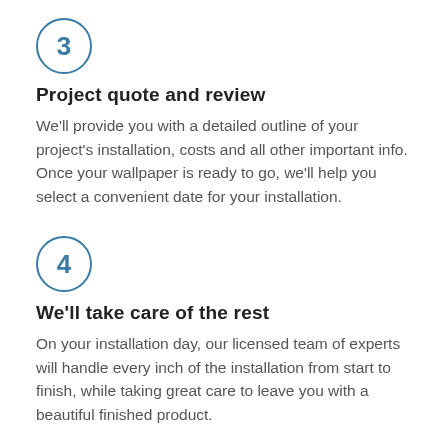[Figure (infographic): Circle with number 3 inside, teal/blue border]
Project quote and review
We'll provide you with a detailed outline of your project's installation, costs and all other important info. Once your wallpaper is ready to go, we'll help you select a convenient date for your installation.
[Figure (infographic): Circle with number 4 inside, teal/blue border]
We'll take care of the rest
On your installation day, our licensed team of experts will handle every inch of the installation from start to finish, while taking great care to leave you with a beautiful finished product.